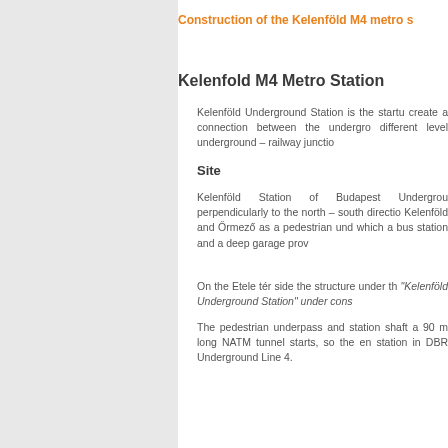Construction of the Kelenföld M4 metro s
Kelenfold M4 Metro Station
Kelenföld Underground Station is the startu create a connection between the undergro different level underground – railway junctio
Site
Kelenföld Station of Budapest Undergrou perpendicularly to the north – south directio Kelenföld and Őrmező as a pedestrian und which a bus station and a deep garage prov
On the Etele tér side the structure under th "Kelenföld Underground Station" under cons
The pedestrian underpass and station shaft a 90 m long NATM tunnel starts, so the en station in DBR Underground Line 4.